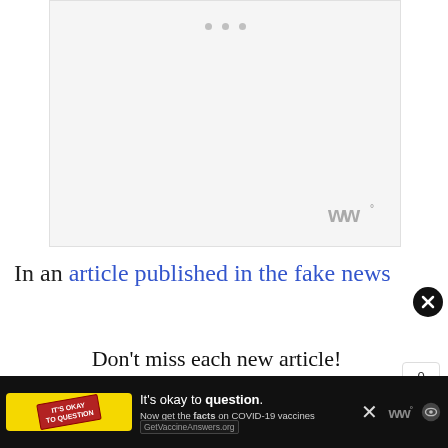[Figure (screenshot): Embedded media player or content card with three gray dots at top center and a watermark logo in bottom right corner, gray/white background]
In an article published in the fake news
Don't miss each new article!
Email Address *
[Figure (infographic): Bottom advertisement bar: yellow box with red stamp icon, text 'It's okay to question. Now get the facts on COVID-19 vaccines GetVaccineAnswers.org', close X button, ww logo and eye icon on right]
[Figure (other): Share widget on right side showing count 0 and share icon button]